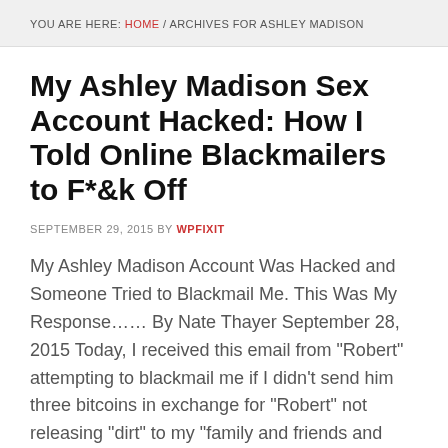YOU ARE HERE: HOME / ARCHIVES FOR ASHLEY MADISON
My Ashley Madison Sex Account Hacked: How I Told Online Blackmailers to F*&k Off
SEPTEMBER 29, 2015 BY WPFIXIT
My Ashley Madison Account Was Hacked and Someone Tried to Blackmail Me. This Was My Response…… By Nate Thayer September 28, 2015 Today, I received this email from "Robert" attempting to blackmail me if I didn't send him three bitcoins in exchange for "Robert" not releasing "dirt" to my "family and friends and employers" for [...]